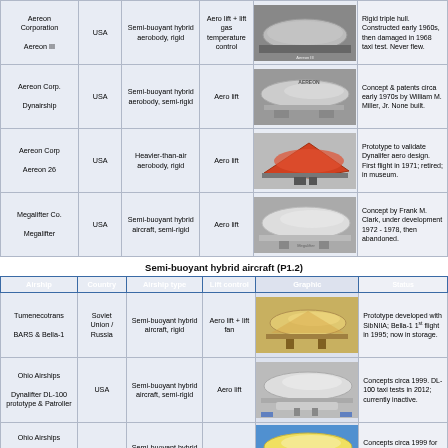| Airship | Country | Airship type | Lift control | Graphic | Status |
| --- | --- | --- | --- | --- | --- |
| Aereon Corporation
Aereon III | USA | Semi-buoyant hybrid aerobody, rigid | Aero lift + lift gas temperature control | [photo] | Rigid triple hull. Constructed early 1960s, then damaged in 1968 taxi test. Never flew. |
| Aereon Corp.
Dynairship | USA | Semi-buoyant hybrid aerobody, semi-rigid | Aero lift | [photo] | Concept & patents circa early 1970s by William M. Miller, Jr. None built. |
| Aereon Corp
Aereon 26 | USA | Heavier-than-air aerobody, rigid | Aero lift | [photo] | Prototype to validate Dynalifer aero design. First flight in 1971; retired; in museum. |
| Megalifter Co.
Megalifter | USA | Semi-buoyant hybrid aircraft, semi-rigid | Aero lift | [photo] | Concept by Frank M. Clark, under development 1972 - 1978, then abandoned. |
Semi-buoyant hybrid aircraft (P1.2)
| Airship | Country | Airship type | Lift control | Graphic | Status |
| --- | --- | --- | --- | --- | --- |
| Tumenecotrans
BARS & Bella-1 | Soviet Union / Russia | Semi-buoyant hybrid aircraft, rigid | Aero lift + lift fan | [photo] | Prototype developed with SibNIIA; Bella-1 1st flight in 1995; now in storage. |
| Ohio Airships
Dynalifter DL-100 prototype & Patroller | USA | Semi-buoyant hybrid aircraft, semi-rigid | Aero lift | [photo] | Concepts circa 1999. DL-100 taxi tests in 2012; currently inactive. |
| Ohio Airships
Dynalifter Freighter & Cruise | USA | Semi-buoyant hybrid aircraft, semi-rigid | Aero lift | [photo] | Concepts circa 1999 for large freighter & passenger |